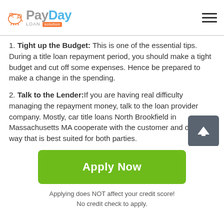PayDay Loan Solution
1. Tight up the Budget: This is one of the essential tips. During a title loan repayment period, you should make a tight budget and cut off some expenses. Hence be prepared to make a change in the spending.
2. Talk to the Lender:If you are having real difficulty managing the repayment money, talk to the loan provider company. Mostly, car title loans North Brookfield in Massachusetts MA cooperate with the customer and decide a way that is best suited for both parties.
3. Do not accept the full Amount: This might sound a little surprising, not taking the full title money is helpful. You
Apply Now
Applying does NOT affect your credit score!
No credit check to apply.